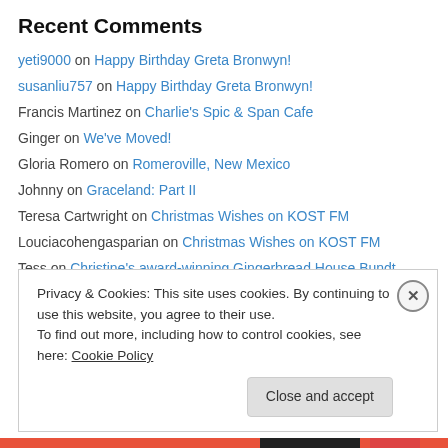Recent Comments
yeti9000 on Happy Birthday Greta Bronwyn!
susanliu757 on Happy Birthday Greta Bronwyn!
Francis Martinez on Charlie's Spic & Span Cafe
Ginger on We've Moved!
Gloria Romero on Romeroville, New Mexico
Johnny on Graceland: Part II
Teresa Cartwright on Christmas Wishes on KOST FM
Louciacohengasparian on Christmas Wishes on KOST FM
Tess on Christine's award-winning Gingerbread House Bundt Cake
JEANETTE on Christmas Wishes on KOST FM
hamlet shahoian on Christmas Wishes on KOST FM
Privacy & Cookies: This site uses cookies. By continuing to use this website, you agree to their use. To find out more, including how to control cookies, see here: Cookie Policy